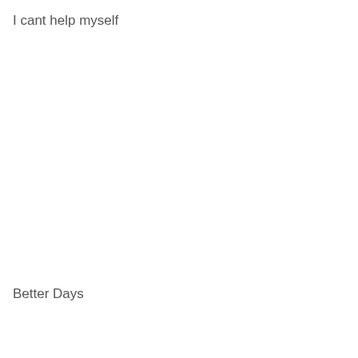I cant help myself
Better Days